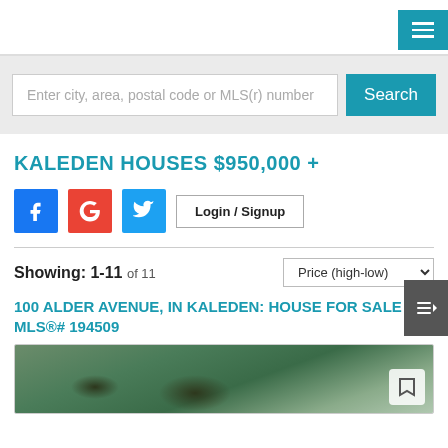Navigation header with hamburger menu
Enter city, area, postal code or MLS(r) number
KALEDEN HOUSES $950,000 +
Login / Signup
Showing: 1-11 of 11
Price (high-low)
100 ALDER AVENUE, IN KALEDEN: HOUSE FOR SALE : MLS®# 194509
[Figure (photo): Aerial photo of houses in Kaleden surrounded by trees]